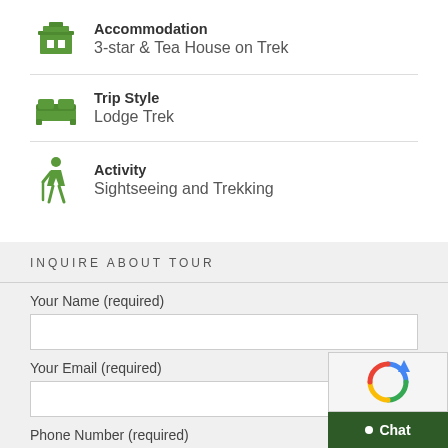Accommodation
3-star & Tea House on Trek
Trip Style
Lodge Trek
Activity
Sightseeing and Trekking
INQUIRE ABOUT TOUR
Your Name (required)
Your Email (required)
Phone Number (required)